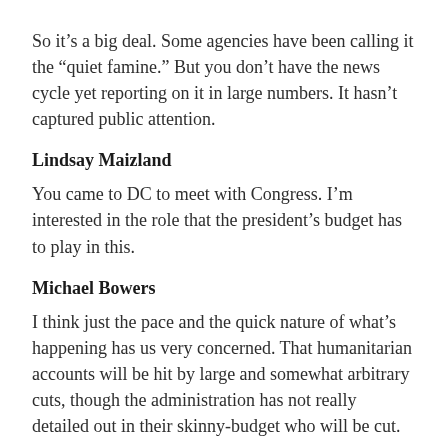So it’s a big deal. Some agencies have been calling it the “quiet famine.” But you don’t have the news cycle yet reporting on it in large numbers. It hasn’t captured public attention.
Lindsay Maizland
You came to DC to meet with Congress. I’m interested in the role that the president’s budget has to play in this.
Michael Bowers
I think just the pace and the quick nature of what’s happening has us very concerned. That humanitarian accounts will be hit by large and somewhat arbitrary cuts, though the administration has not really detailed out in their skinny-budget who will be cut.